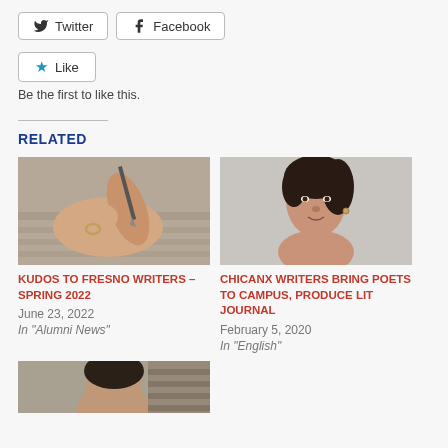[Figure (other): Twitter and Facebook share buttons]
[Figure (other): Like button with star icon]
Be the first to like this.
RELATED
[Figure (photo): Close-up of hands writing with a pen on paper, wearing a ring]
KUDOS TO FRESNO WRITERS – SPRING 2022
June 23, 2022
In "Alumni News"
[Figure (photo): Portrait of a young woman with dark hair in a bun, looking at camera]
CHICANX WRITERS BRING POETS TO CAMPUS, PRODUCE LIT JOURNAL
February 5, 2020
In "English"
[Figure (photo): Partial photo of a man, cropped at bottom of page]